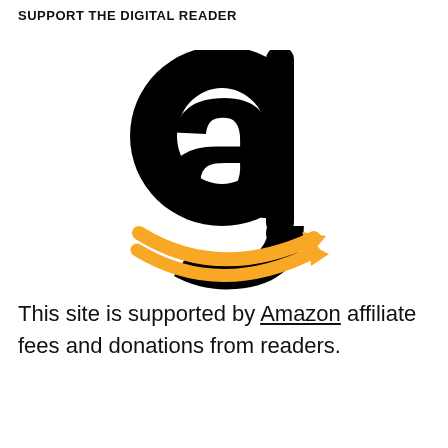SUPPORT THE DIGITAL READER
[Figure (logo): Amazon logo: large black lowercase letter 'a' with orange arrow/smile beneath pointing right]
This site is supported by Amazon affiliate fees and donations from readers.